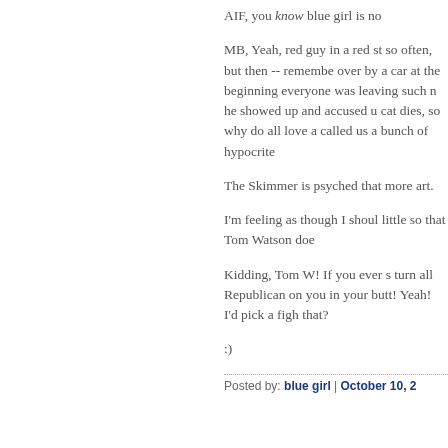AIF, you know blue girl is no
MB, Yeah, red guy in a red st so often, but then -- remembe over by a car at the beginning everyone was leaving such n he showed up and accused u cat dies, so why do all love a called us a bunch of hypocrite
The Skimmer is psyched that more art.
I'm feeling as though I shoul little so that Tom Watson doe
Kidding, Tom W! If you ever s turn all Republican on you in your butt! Yeah! I'd pick a figh that?
:)
Posted by: blue girl | October 10, 2